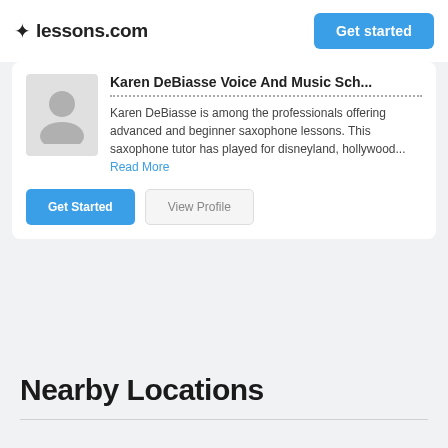lessons.com  Get started
Karen DeBiasse Voice And Music Sch...
Karen DeBiasse is among the professionals offering advanced and beginner saxophone lessons. This saxophone tutor has played for disneyland, hollywood... Read More
Nearby Locations